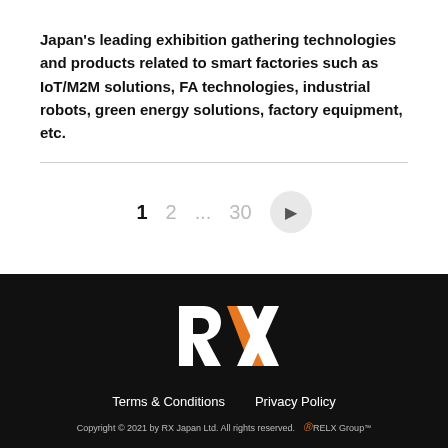Japan's leading exhibition gathering technologies and products related to smart factories such as IoT/M2M solutions, FA technologies, industrial robots, green energy solutions, factory equipment, etc.
1  2  ...  30  ▶
[Figure (logo): RX logo — white R and X letters with an orange diagonal slash on black background]
Terms & Conditions   Privacy Policy
Copyright © 2021 by RX Japan Ltd. All rights reserved.   RELX Group™